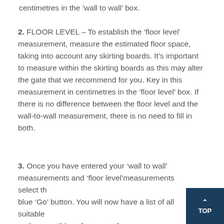centimetres in the ‘wall to wall’ box.
2. FLOOR LEVEL – To establish the ‘floor level’ measurement, measure the estimated floor space, taking into account any skirting boards. It’s important to measure within the skirting boards as this may alter the gate that we recommend for you. Key in this measurement in centimetres in the ‘floor level’ box. If there is no difference between the floor level and the wall-to-wall measurement, there is no need to fill in both.
3. Once you have entered your ‘wall to wall’ measurements and ‘floor level’measurements select the blue ‘Go’ button. You will now have a list of all suitable and compatible safety gates for your space. Your measurements have now been automatically and accurately calculated.